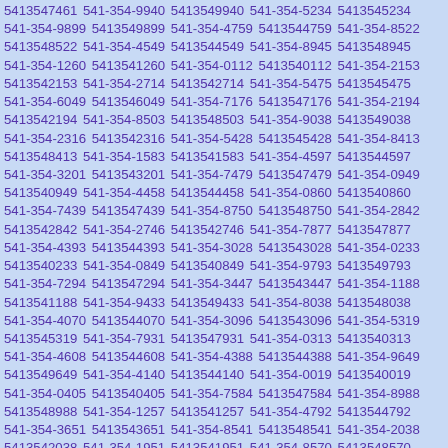5413547461 541-354-9940 5413549940 541-354-5234 5413545234 541-354-9899 5413549899 541-354-4759 5413544759 541-354-8522 5413548522 541-354-4549 5413544549 541-354-8945 5413548945 541-354-1260 5413541260 541-354-0112 5413540112 541-354-2153 5413542153 541-354-2714 5413542714 541-354-5475 5413545475 541-354-6049 5413546049 541-354-7176 5413547176 541-354-2194 5413542194 541-354-8503 5413548503 541-354-9038 5413549038 541-354-2316 5413542316 541-354-5428 5413545428 541-354-8413 5413548413 541-354-1583 5413541583 541-354-4597 5413544597 541-354-3201 5413543201 541-354-7479 5413547479 541-354-0949 5413540949 541-354-4458 5413544458 541-354-0860 5413540860 541-354-7439 5413547439 541-354-8750 5413548750 541-354-2842 5413542842 541-354-2746 5413542746 541-354-7877 5413547877 541-354-4393 5413544393 541-354-3028 5413543028 541-354-0233 5413540233 541-354-0849 5413540849 541-354-9793 5413549793 541-354-7294 5413547294 541-354-3447 5413543447 541-354-1188 5413541188 541-354-9433 5413549433 541-354-8038 5413548038 541-354-4070 5413544070 541-354-3096 5413543096 541-354-5319 5413545319 541-354-7931 5413547931 541-354-0313 5413540313 541-354-4608 5413544608 541-354-4388 5413544388 541-354-9649 5413549649 541-354-4140 5413544140 541-354-0019 5413540019 541-354-0405 5413540405 541-354-7584 5413547584 541-354-8988 5413548988 541-354-1257 5413541257 541-354-4792 5413544792 541-354-3651 5413543651 541-354-8541 5413548541 541-354-2038 5413542038 541-354-1951 5413541951 541-354-8570 5413548570